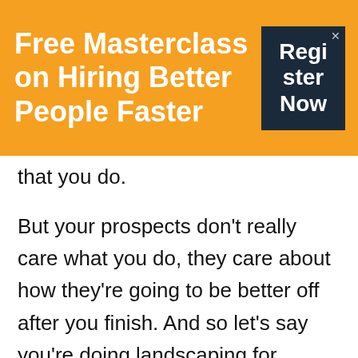Free Masterclass on Hiring Better People Faster
[Figure (other): Register Now button in dark navy box with close X in top-right corner]
that you do.
But your prospects don't really care what you do, they care about how they're going to be better off after you finish. And so let's say you're doing landscaping for people's homes. They're probably hiring you because they want to live in a beautiful home and have a, and be able to walk out their front door and have it be beautiful. And so that's what you need to talk about. Not